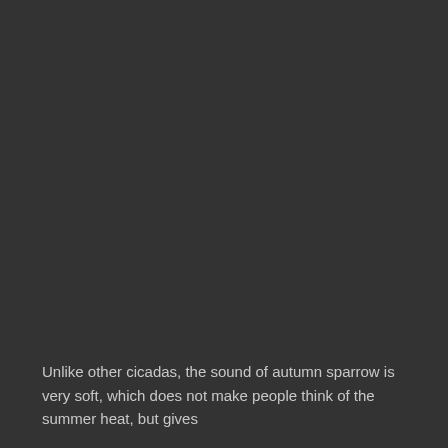Unlike other cicadas, the sound of autumn sparrow is very soft, which does not make people think of the summer heat, but gives